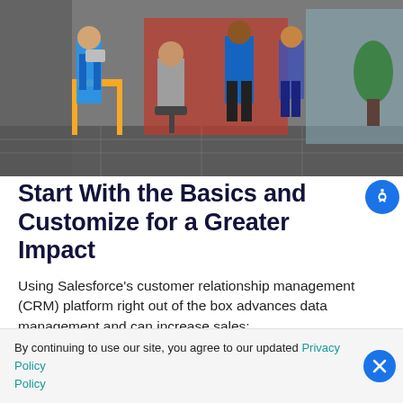[Figure (photo): Group of four people in a modern office setting, collaborating around a laptop and documents. One person is seated in a chair, others are standing.]
Start With the Basics and Customize for a Greater Impact
Using Salesforce's customer relationship management (CRM) platform right out of the box advances data management and can increase sales:
By continuing to use our site, you agree to our updated Privacy Policy